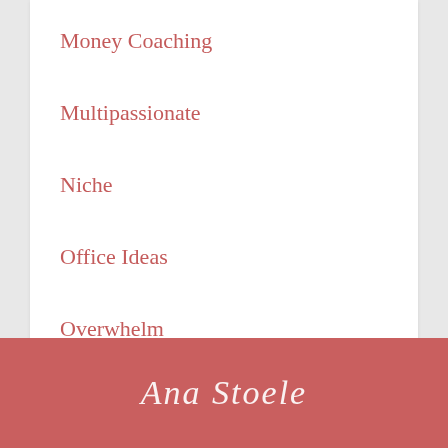Money Coaching
Multipassionate
Niche
Office Ideas
Overwhelm
Painting
Perfectionist
Ana Stoele